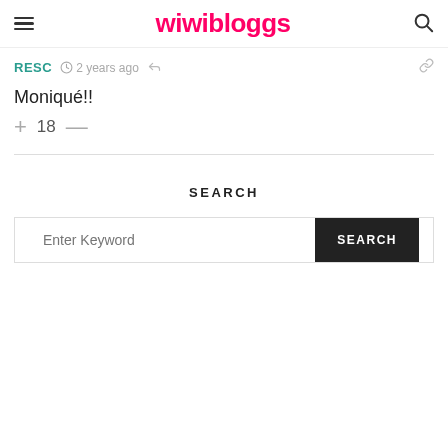wiwibloggs
RESC  2 years ago
Moniqué!!
+ 18 —
SEARCH
Enter Keyword  SEARCH